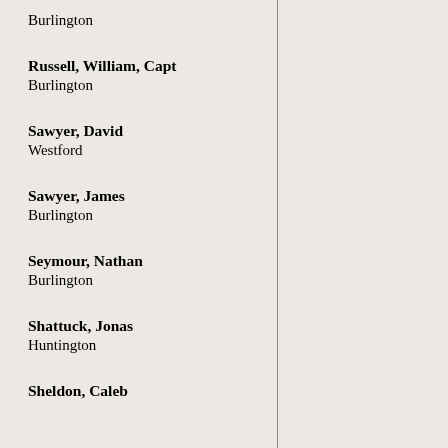Burlington
Russell, William, Capt
Burlington
Sawyer, David
Westford
Sawyer, James
Burlington
Seymour, Nathan
Burlington
Shattuck, Jonas
Huntington
Sheldon, Caleb